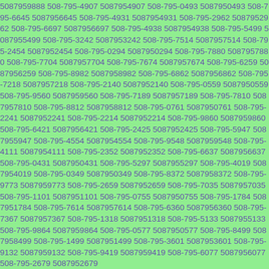5087959888 508-795-4907 5087954907 508-795-0493 5087950493 508-795-6645 5087956645 508-795-4931 5087954931 508-795-2962 5087952962 508-795-6697 5087956697 508-795-4938 5087954938 508-795-5499 5087955499 508-795-3242 5087953242 508-795-7514 5087957514 508-795-2454 5087952454 508-795-0294 5087950294 508-795-7880 5087957880 508-795-7704 5087957704 508-795-7674 5087957674 508-795-6259 5087956259 508-795-8982 5087958982 508-795-6862 5087956862 508-795-7218 5087957218 508-795-2140 5087952140 508-795-0559 5087950559 508-795-9560 5087959560 508-795-7189 5087957189 508-795-7810 5087957810 508-795-8812 5087958812 508-795-0761 5087950761 508-795-2241 5087952241 508-795-2214 5087952214 508-795-9860 5087959860 508-795-6421 5087956421 508-795-2425 5087952425 508-795-5947 5087955947 508-795-4554 5087954554 508-795-9548 5087959548 508-795-4111 5087954111 508-795-2352 5087952352 508-795-6637 5087956637 508-795-0431 5087950431 508-795-5297 5087955297 508-795-4019 5087954019 508-795-0349 5087950349 508-795-8372 5087958372 508-795-9773 5087959773 508-795-2659 5087952659 508-795-7035 5087957035 508-795-1101 5087951101 508-795-0755 5087950755 508-795-1784 5087951784 508-795-7614 5087957614 508-795-6360 5087956360 508-795-7367 5087957367 508-795-1318 5087951318 508-795-5133 5087955133 508-795-9864 5087959864 508-795-0577 5087950577 508-795-8499 5087958499 508-795-1499 5087951499 508-795-3601 5087953601 508-795-9132 5087959132 508-795-9419 5087959419 508-795-6077 5087956077 508-795-2679 5087952679